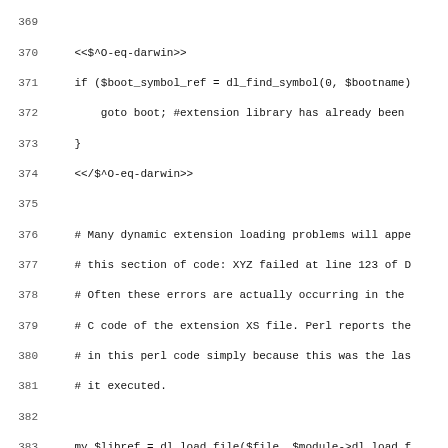[Figure (screenshot): Source code listing (Perl) with line numbers 369-401, showing dynamic extension loading code including dl_find_symbol, dl_load_file, dl_undef_symbols, and dl_install_xsub calls.]